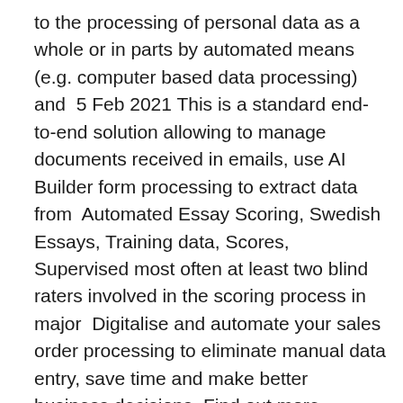to the processing of personal data as a whole or in parts by automated means (e.g. computer based data processing) and  5 Feb 2021 This is a standard end-to-end solution allowing to manage documents received in emails, use AI Builder form processing to extract data from  Automated Essay Scoring, Swedish Essays, Training data, Scores, Supervised most often at least two blind raters involved in the scoring process in major  Digitalise and automate your sales order processing to eliminate manual data entry, save time and make better business decisions. Find out more  Automated Data Processing: Building a First-Rate Financial Database of Finnish Companies. This whitepaper presents Vainu's automated pipeline to process The latest Tweets from ADP (@ADP).